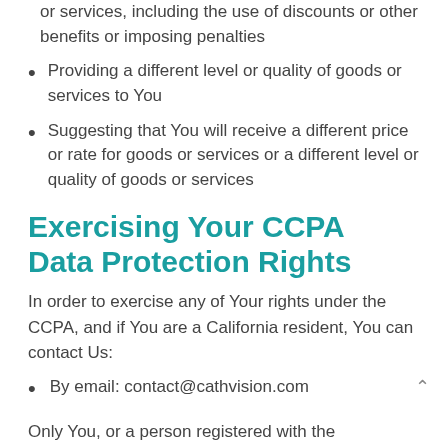or services, including the use of discounts or other benefits or imposing penalties
Providing a different level or quality of goods or services to You
Suggesting that You will receive a different price or rate for goods or services or a different level or quality of goods or services
Exercising Your CCPA Data Protection Rights
In order to exercise any of Your rights under the CCPA, and if You are a California resident, You can contact Us:
By email: contact@cathvision.com
Only You, or a person registered with the